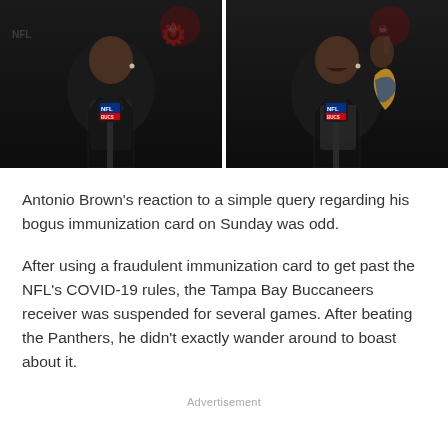[Figure (photo): Two side-by-side video stills of Antonio Brown at a Tampa Bay Buccaneers press conference, with NFL microphones visible and Buccaneers branding in the background. Left image shows him facing forward; right image shows him gesturing with his hand raised.]
Antonio Brown's reaction to a simple query regarding his bogus immunization card on Sunday was odd.
After using a fraudulent immunization card to get past the NFL's COVID-19 rules, the Tampa Bay Buccaneers receiver was suspended for several games. After beating the Panthers, he didn't exactly wander around to boast about it.
Advertisement